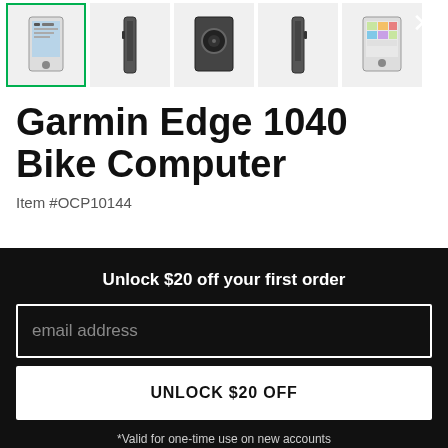[Figure (screenshot): Thumbnail strip showing 5 product images of Garmin Edge 1040 Bike Computer from different angles. First thumbnail has a green border indicating it is selected.]
Garmin Edge 1040 Bike Computer
Item #OCP10144
Unlock $20 off your first order
email address
UNLOCK $20 OFF
*Valid for one-time use on new accounts